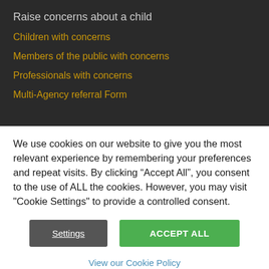Raise concerns about a child
Children with concerns
Members of the public with concerns
Professionals with concerns
Multi-Agency referral Form
We use cookies on our website to give you the most relevant experience by remembering your preferences and repeat visits. By clicking “Accept All”, you consent to the use of ALL the cookies. However, you may visit "Cookie Settings" to provide a controlled consent.
Settings | ACCEPT ALL
View our Cookie Policy